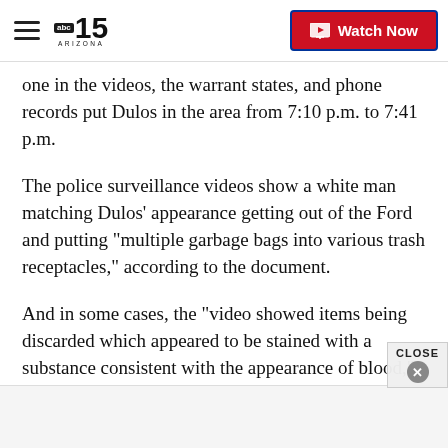abc15 ARIZONA — Watch Now
one in the videos, the warrant states, and phone records put Dulos in the area from 7:10 p.m. to 7:41 p.m.
The police surveillance videos show a white man matching Dulos' appearance getting out of the Ford and putting "multiple garbage bags into various trash receptacles," according to the document.
And in some cases, the "video showed items being discarded which appeared to be stained with a substance consistent with the appearance of blood," it states.